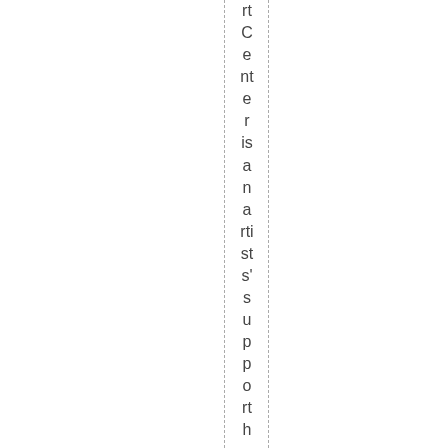rt Center is an artist's support hub that fil